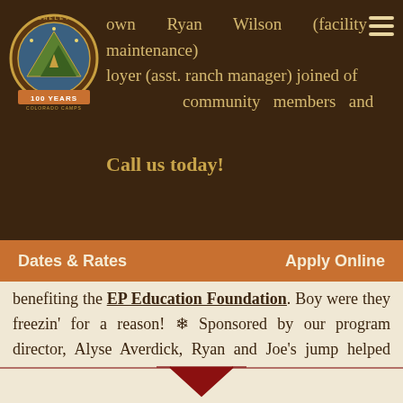[Figure (logo): Cheley Colorado Camps 100 Years logo — circular badge with illustrated mountain/teepee design and text 'CHELEY 100 YEARS COLORADO CAMPS']
own Ryan Wilson (facility maintenance) loyer (asst. ranch manager) joined of Estes community members and
Call us today!
Dates & Rates    Apply Online
benefiting the EP Education Foundation. Boy were they freezin' for a reason! ❄ Sponsored by our program director, Alyse Averdick, Ryan and Joe's jump helped raise money for Estes Park schools and school programs. We're so thankful to them for bearing the cold for a great cause! Check out our Instagram for the video and more photos.